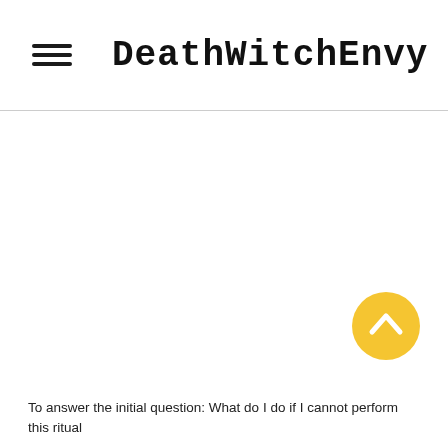DeathWitchEnvy
[Figure (illustration): Yellow circular scroll-to-top button with a white upward chevron arrow icon]
To answer the initial question: What do I do if I cannot perform this ritual